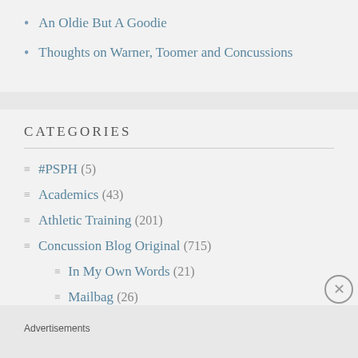An Oldie But A Goodie
Thoughts on Warner, Toomer and Concussions
CATEGORIES
#PSPH (5)
Academics (43)
Athletic Training (201)
Concussion Blog Original (715)
In My Own Words (21)
Mailbag (26)
Advertisements